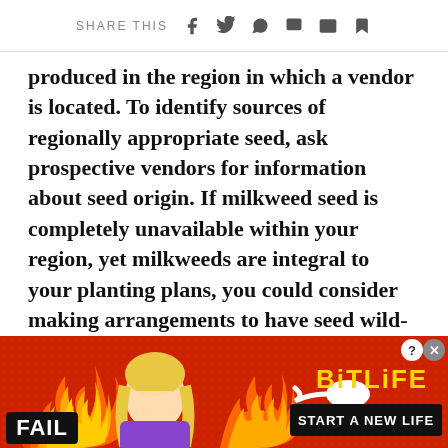SHARE THIS
produced in the region in which a vendor is located. To identify sources of regionally appropriate seed, ask prospective vendors for information about seed origin. If milkweed seed is completely unavailable within your region, yet milkweeds are integral to your planting plans, you could consider making arrangements to have seed wild-collected from local populations. [Gather your own seeds.]
[Figure (infographic): Advertisement banner for BitLife mobile game. Red background with fire and cartoon elements. Shows 'FAIL' badge on left, cartoon blonde woman facepalming, flame graphics, sperm icon, BitLife logo in gold text, and 'START A NEW LIFE' button in black. Close and help buttons in top-right corner.]